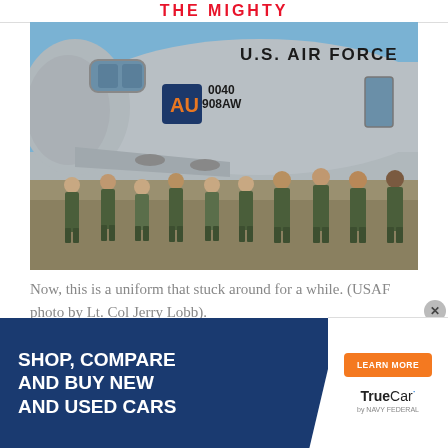THE MIGHTY
[Figure (photo): Group of approximately 10 U.S. Air Force personnel in camouflage uniforms standing in front of a C-130 aircraft bearing the text 'U.S. AIR FORCE', number '0040', '908AW', and an Auburn University logo.]
Now, this is a uniform that stuck around for a while. (USAF photo by Lt. Col Jerry Lobb).
Also read: 6 signs that you might be a ve...
1.
To...
[Figure (other): Advertisement overlay: 'SHOP, COMPARE AND BUY NEW AND USED CARS' with a 'LEARN MORE' button and TrueCar by Navy Federal logo.]